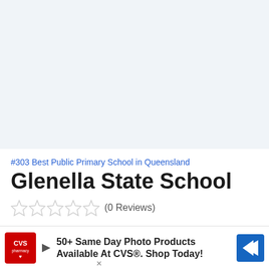[Figure (other): Light blue-grey empty area at top of page, likely a map or image placeholder]
#303 Best Public Primary School in Queensland
Glenella State School
(0 Reviews)
Glenella State School is a highly rated primary school in Glenella, Mackay QLD. The public school has 228 students with a student-to-teacher
[Figure (other): CVS Pharmacy advertisement banner: '50+ Same Day Photo Products Available At CVS®. Shop Today!']